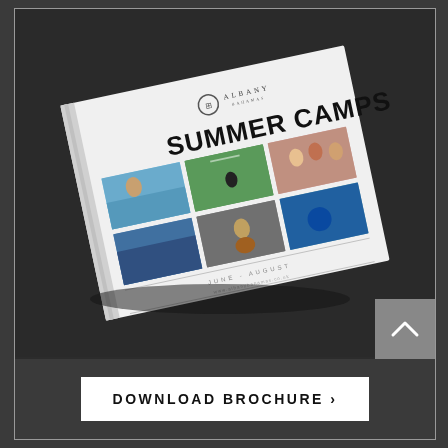[Figure (photo): A photograph of an Albany school summer camps brochure lying at an angle on a dark background. The brochure cover shows 'SUMMER CAMPS' in large bold letters, an Albany logo, a grid of 6 activity photos (beach, tennis, music, scuba diving, group activities), and text reading 'JUNE - AUGUST' with a website URL.]
DOWNLOAD BROCHURE ›